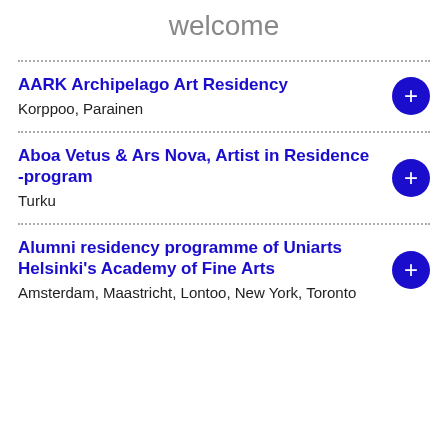welcome
AARK Archipelago Art Residency
Korppoo, Parainen
Aboa Vetus & Ars Nova, Artist in Residence -program
Turku
Alumni residency programme of Uniarts Helsinki's Academy of Fine Arts
Amsterdam, Maastricht, Lontoo, New York, Toronto